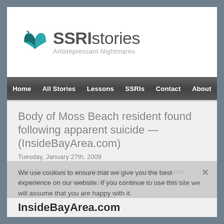[Figure (logo): SSRIstories Antidepressant Nightmares logo with teal open book icon]
Home   All Stories   Lessons   SSRIs   Contact   About
Body of Moss Beach resident found following apparent suicide — (InsideBayArea.com)
Tuesday, January 27th, 2009
SSRI Ed note: Man abruptly discontinues antidepressants, disappears, family realizes withdrawal caused his suicide.
Original article no longer available
We use cookies to ensure that we give you the best experience on our website. If you continue to use this site we will assume that you are happy with it.
Ok   Privacy policy
InsideBayArea.com